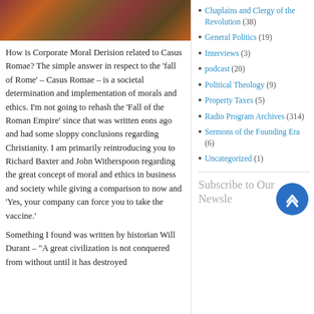[Figure (photo): Historical painting or illustration, warm brown and orange tones, appears to depict a battle or crowd scene from ancient/colonial era]
How is Corporate Moral Derision related to Casus Romae? The simple answer in respect to the 'fall of Rome' – Casus Romae – is a societal determination and implementation of morals and ethics. I'm not going to rehash the 'Fall of the Roman Empire' since that was written eons ago and had some sloppy conclusions regarding Christianity. I am primarily reintroducing you to Richard Baxter and John Witherspoon regarding the great concept of moral and ethics in business and society while giving a comparison to now and 'Yes, your company can force you to take the vaccine.'
Something I found was written by historian Will Durant – "A great civilization is not conquered from without until it has destroyed
Chaplains and Clergy of the Revolution (38)
General Politics (19)
Interviews (3)
podcast (20)
Political Theology (9)
Property Taxes (5)
Radio Program Archives (314)
Sermons of the Founding Era (6)
Uncategorized (1)
Subscribe to Our Newsletter